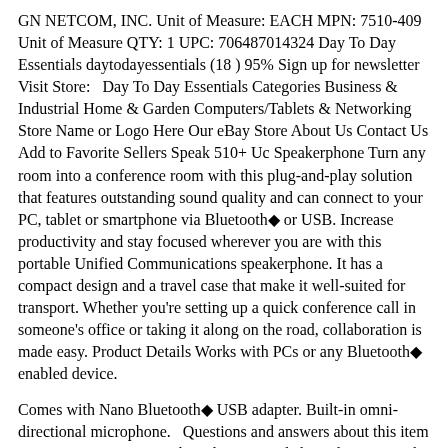GN NETCOM, INC. Unit of Measure: EACH MPN: 7510-409 Unit of Measure QTY: 1 UPC: 706487014324 Day To Day Essentials daytodayessentials (18 ) 95% Sign up for newsletter Visit Store:   Day To Day Essentials Categories Business & Industrial Home & Garden Computers/Tablets & Networking Store Name or Logo Here Our eBay Store About Us Contact Us Add to Favorite Sellers Speak 510+ Uc Speakerphone Turn any room into a conference room with this plug-and-play solution that features outstanding sound quality and can connect to your PC, tablet or smartphone via Bluetooth◆ or USB. Increase productivity and stay focused wherever you are with this portable Unified Communications speakerphone. It has a compact design and a travel case that make it well-suited for transport. Whether you're setting up a quick conference call in someone's office or taking it along on the road, collaboration is made easy. Product Details Works with PCs or any Bluetooth◆ enabled device.
Comes with Nano Bluetooth◆ USB adapter. Built-in omni-directional microphone.   Questions and answers about this item No questions or answers have been posted about this item. Ask a question - opens in a new window or tab Seller assumes all responsibility for this listing. Shipping and handling This item will ship to Thailand, but the seller has not specified shipping options. Contact the seller- opens in a new window or tab and request a shipping method to your location. Shipping cost cannot be